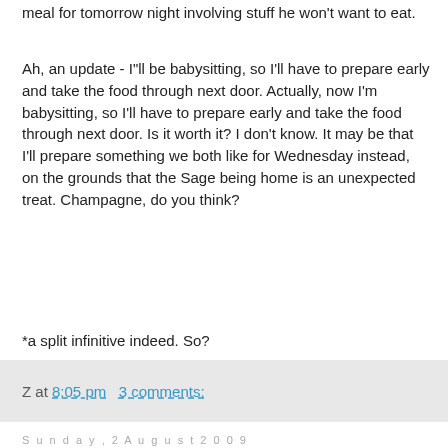meal for tomorrow night involving stuff he won't want to eat.
Ah, an update - I"ll be babysitting, so I'll have to prepare early and take the food through next door. Actually, now I'm babysitting, so I'll have to prepare early and take the food through next door. Is it worth it? I don't know. It may be that I'll prepare something we both like for Wednesday instead, on the grounds that the Sage being home is an unexpected treat. Champagne, do you think?
*a split infinitive indeed. So?
Z at 8:05 pm   3 comments:
Sunday, 2 August 2009
Dilly is cheeky
The family came over for that barbecue and the weather obligingly followed the forecast and was warm and dry. Zerlina was sporting a black eye. "What happened" "She